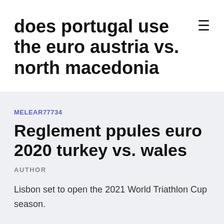does portugal use the euro austria vs. north macedonia
MELEAR77734
Reglement ppules euro 2020 turkey vs. wales
AUTHOR
Lisbon set to open the 2021 World Triathlon Cup season.